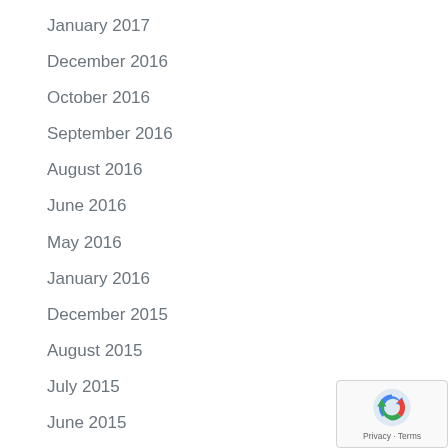January 2017
December 2016
October 2016
September 2016
August 2016
June 2016
May 2016
January 2016
December 2015
August 2015
July 2015
June 2015
May 2015
April 2015
March 2015